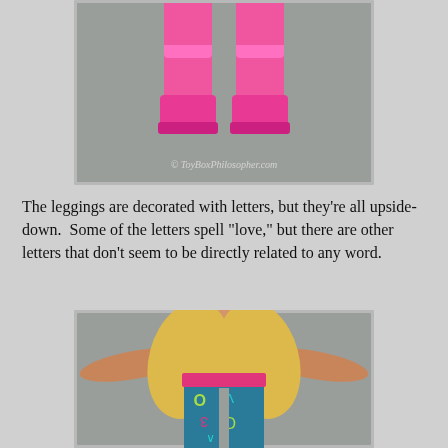[Figure (photo): Close-up photo of a Barbie doll's pink boots/shoes on a grey background, with watermark © ToyBoxPhilosopher.com]
The leggings are decorated with letters, but they're all upside-down.  Some of the letters spell "love," but there are other letters that don't seem to be directly related to any word.
[Figure (photo): Photo of a Barbie doll torso and legs wearing colorful teal leggings decorated with upside-down letters (including 'love'), with a pink waistband, against a grey background.]